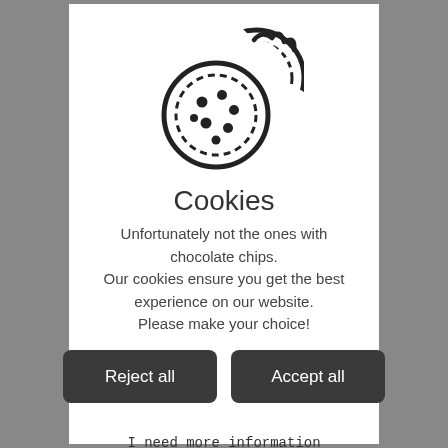[Figure (illustration): Two cookies icon — one whole cookie with chocolate chip dots and one bitten cookie, drawn in black outline style]
Cookies
Unfortunately not the ones with chocolate chips. Our cookies ensure you get the best experience on our website. Please make your choice!
Reject all
Accept all
I need more information